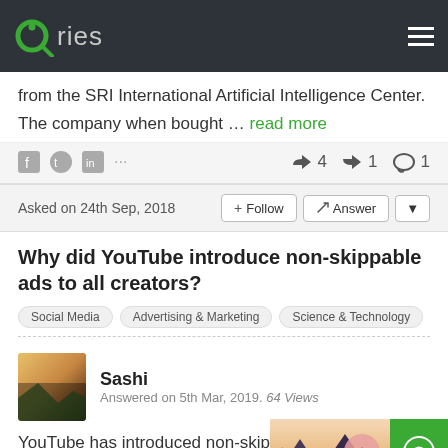Qries
from the SRI International Artificial Intelligence Center. The company when bought ... read more
👍 4  👎 1  💬 1
Asked on 24th Sep, 2018
Why did YouTube introduce non-skippable ads to all creators?
Social Media
Advertising & Marketing
Science & Technology
Sashi
Answered on 5th Mar, 2019. 64 Views
YouTube has introduced non-skippable advertisements on their videos.